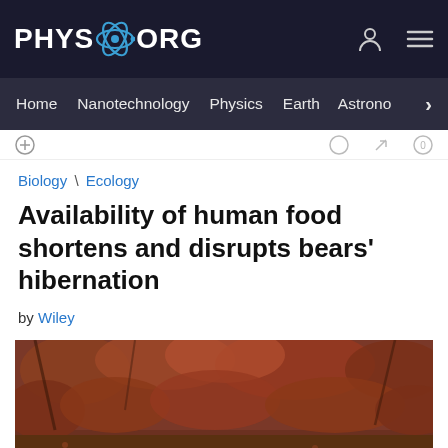PHYS.ORG
Home | Nanotechnology | Physics | Earth | Astronomy >
Biology \ Ecology
Availability of human food shortens and disrupts bears' hibernation
by Wiley
[Figure (photo): A brown bear resting on autumn leaf-covered ground with reddish-orange forest background]